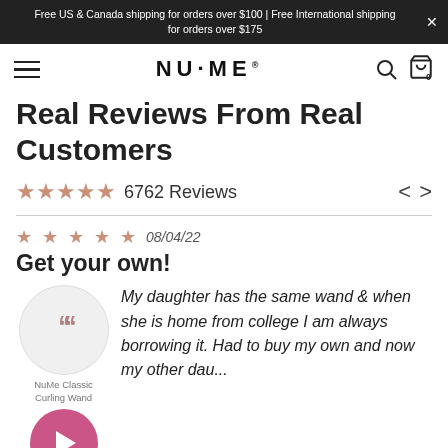Free US & Canada shipping for orders over $100 | Free International shipping for orders over $175
[Figure (logo): NuMe brand logo with hamburger menu, search icon, and shopping bag icon with 0 items]
Real Reviews From Real Customers
★★★★★ 6762 Reviews
★★★★★ 08/04/22
Get your own!
My daughter has the same wand & when she is home from college I am always borrowing it. Had to buy my own and now my other dau...